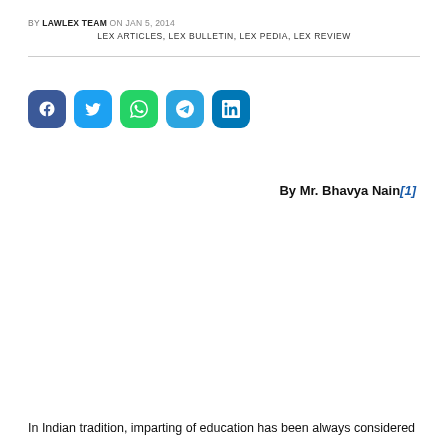BY LAWLEX TEAM ON JAN 5, 2014
LEX ARTICLES, LEX BULLETIN, LEX PEDIA, LEX REVIEW
[Figure (other): Social media share buttons: Facebook, Twitter, WhatsApp, Telegram, LinkedIn]
By Mr. Bhavya Nain[1]
In Indian tradition, imparting of education has been always considered